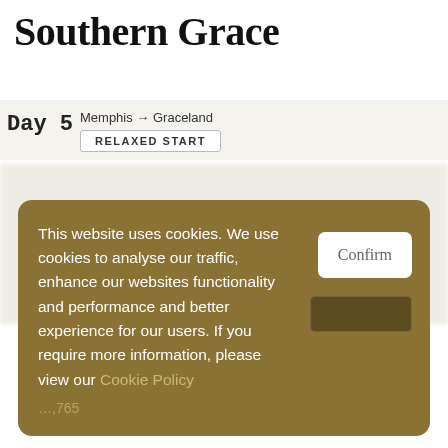Southern Grace
Day 5
Memphis → Graceland
RELAXED START
This website uses cookies. We use cookies to analyse our traffic, enhance our websites functionality and performance and better experience for our users. If you require more information, please view our Cookie Policy
Confirm